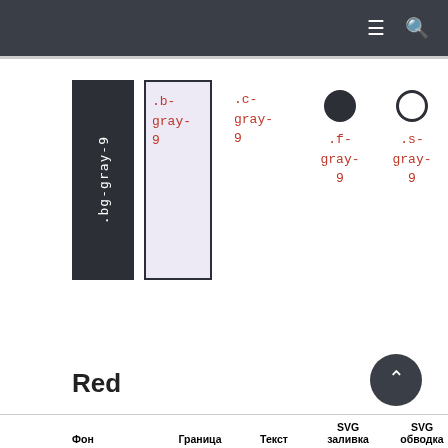[Figure (screenshot): Color swatch row showing .bg-gray-9 (dark), .b-gray-9 (bordered), .c-gray-9 (plain text), .f-gray-9 (filled circle), .s-gray-9 (outline circle)]
Red
| Фон | Граница | Текст | SVG заливка | SVG обводка |
| --- | --- | --- | --- | --- |